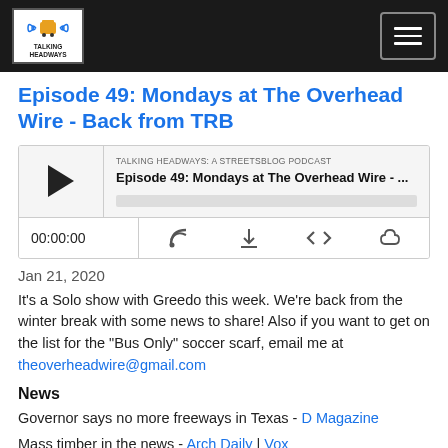Talking Headways: A Streetsblog Podcast
Episode 49: Mondays at The Overhead Wire - Back from TRB
[Figure (screenshot): Embedded podcast player widget showing episode: 'Episode 49: Mondays at The Overhead Wire - ...' from Talking Headways: A Streetsblog Podcast. Controls show 00:00:00, RSS, download, embed, and share icons.]
Jan 21, 2020
It's a Solo show with Greedo this week. We're back from the winter break with some news to share!  Also if you want to get on the list for the "Bus Only" soccer scarf, email me at theoverheadwire@gmail.com
News
Governor says no more freeways in Texas - D Magazine
Mass timber in the news - Arch Daily | Vox